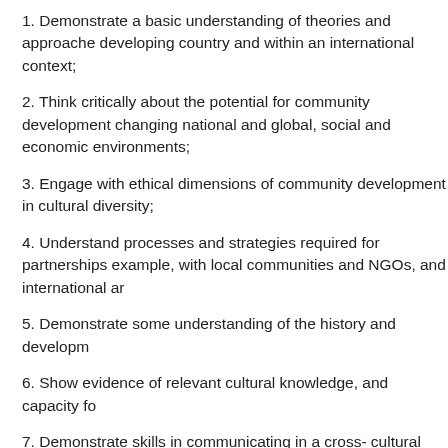1. Demonstrate a basic understanding of theories and approaches developing country and within an international context;
2. Think critically about the potential for community development changing national and global, social and economic environments;
3. Engage with ethical dimensions of community development in cultural diversity;
4. Understand processes and strategies required for partnerships example, with local communities and NGOs, and international an
5. Demonstrate some understanding of the history and developm
6. Show evidence of relevant cultural knowledge, and capacity fo
7. Demonstrate skills in communicating in a cross- cultural situati where English is not the spoken language;
8. Engage intellectually and in practice with concepts of race, rac